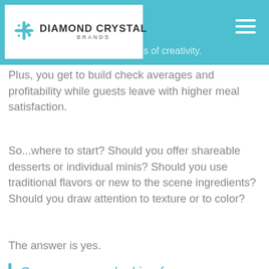Diamond Crystal Brands
some fun and stretch the bounds of creativity. Plus, you get to build check averages and profitability while guests leave with higher meal satisfaction.
So...where to start? Should you offer shareable desserts or individual minis? Should you use traditional flavors or new to the scene ingredients? Should you draw attention to texture or to color?
The answer is yes.
Consumers are looking for an extraordinarily delicious dessert